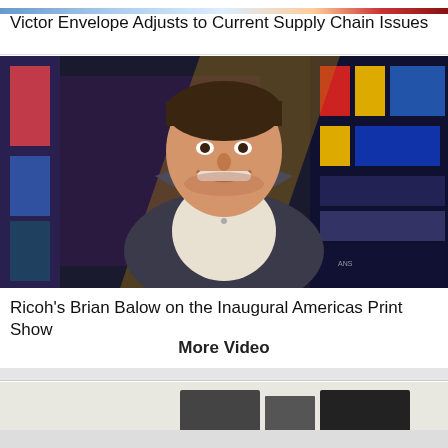[Figure (photo): Top strip image showing people at a trade show or event, colorful background]
Victor Envelope Adjusts to Current Supply Chain Issues
[Figure (photo): Portrait photo of Ricoh's Brian Balow, a man in a grey blazer and white shirt, smiling, against a colorful digital display background]
Ricoh's Brian Balow on the Inaugural Americas Print Show
More Video
[Figure (photo): Bottom section showing dark-colored printed/manufactured products on a light background]